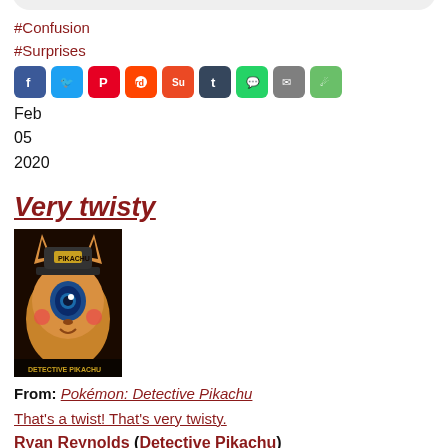[Figure (screenshot): Top audio player bar showing time indicator and controls on grey pill background]
#Confusion
#Surprises
[Figure (infographic): Row of social sharing icon buttons: Facebook (blue), Twitter (blue), Pinterest (red), Reddit (orange-red), StumbleUpon (orange), Tumblr (dark blue), WhatsApp (green), Email (grey), Share (green)]
Feb
05
2020
Very twisty
[Figure (photo): Movie poster for Pokemon: Detective Pikachu showing Pikachu character close-up with blue eye and fur detail on dark background]
From: Pokémon: Detective Pikachu
That's a twist! That's very twisty.
Ryan Reynolds (Detective Pikachu)
[Figure (screenshot): Bottom audio player bar showing play button, 0:00 / 0:00 time, progress bar, volume icon, and options dots on grey pill background]